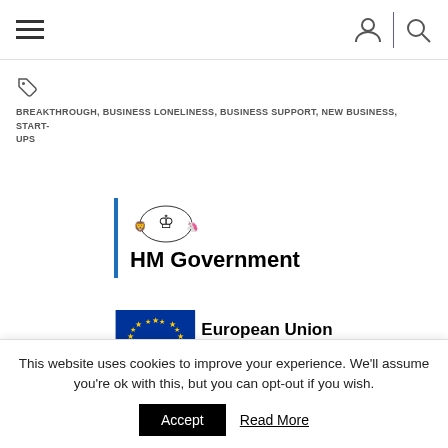Navigation bar with hamburger menu, user icon, divider, and search icon
BREAKTHROUGH, BUSINESS LONELINESS, BUSINESS SUPPORT, NEW BUSINESS, START-UPS
[Figure (logo): HM Government logo with blue vertical bar, royal crest, and 'HM Government' text in bold]
[Figure (logo): European Union European Regional Development Fund logo with EU flag (blue rectangle with gold stars)]
This website uses cookies to improve your experience. We'll assume you're ok with this, but you can opt-out if you wish.
Accept   Read More